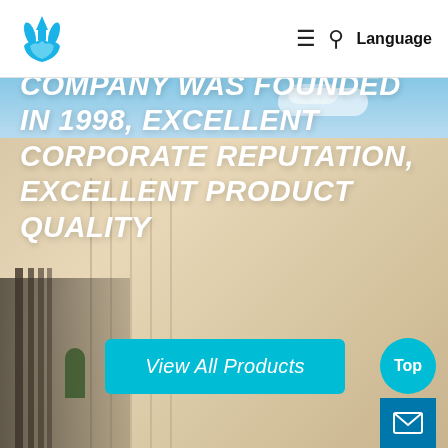Logo | ≡ 🔍 Language
[Figure (photo): Corporate building exterior with beige/tan facade and blue sky backdrop, serving as hero background image]
COMPANY WAS FOUNDED IN 1998, EXCELLENT CORPORATE REPUTATION, EXCELLENT PRODUCT QUALITY
View All Products
Top